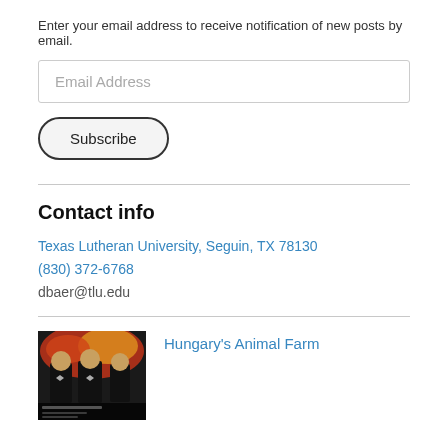Enter your email address to receive notification of new posts by email.
Email Address
Subscribe
Contact info
Texas Lutheran University, Seguin, TX 78130
(830) 372-6768
dbaer@tlu.edu
[Figure (photo): Thumbnail image for Hungary's Animal Farm post, showing figures in dark clothing with red and yellow background]
Hungary's Animal Farm